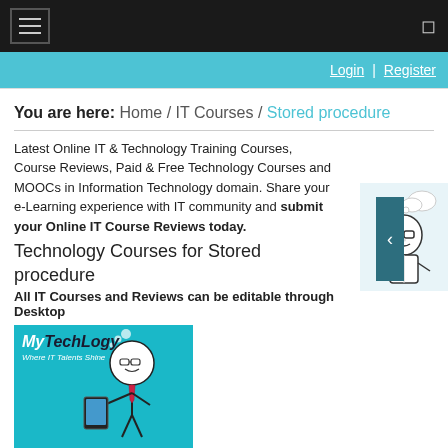Navigation bar with hamburger menu
Login | Register
You are here: Home / IT Courses / Stored procedure
Latest Online IT & Technology Training Courses, Course Reviews, Paid & Free Technology Courses and MOOCs in Information Technology domain. Share your e-Learning experience with IT community and submit your Online IT Course Reviews today.
Technology Courses for Stored procedure
All IT Courses and Reviews can be editable through Desktop
[Figure (logo): MyTechLogy logo with cartoon character holding a tablet, blue background. Text: MyTechLogy, Where IT Talents Shine]
Informatica Powercenter Certification Training